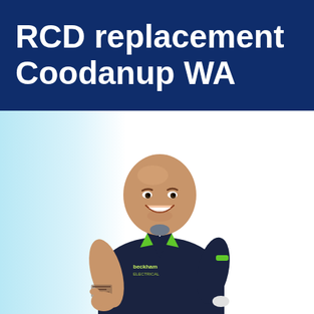RCD replacement Coodanup WA
[Figure (photo): A smiling bald man wearing a dark navy polo shirt with green trim and a logo reading 'Beckham Electrical', giving a thumbs up. He has tattoos on his left arm. The background is white with a light blue gradient on the left side.]